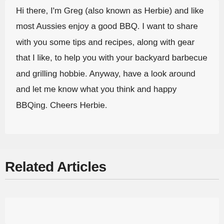Hi there, I'm Greg (also known as Herbie) and like most Aussies enjoy a good BBQ. I want to share with you some tips and recipes, along with gear that I like, to help you with your backyard barbecue and grilling hobbie. Anyway, have a look around and let me know what you think and happy BBQing. Cheers Herbie.
Related Articles